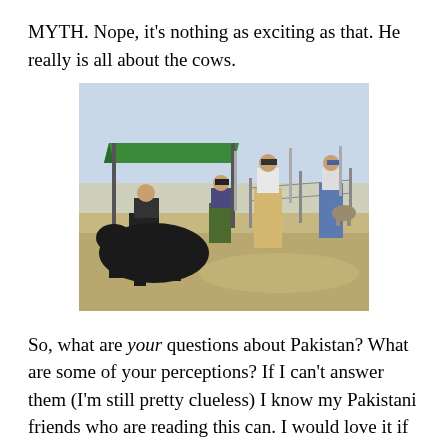MYTH. Nope, it's nothing as exciting as that. He really is all about the cows.
[Figure (photo): Outdoor scene with several people standing near a green canopy/tent structure in a dry, dusty field. Some people appear to be examining something on the ground near what appears to be a cow. The setting looks like a farm or agricultural field in a hot, arid region.]
So, what are your questions about Pakistan? What are some of your perceptions? If I can't answer them (I'm still pretty clueless) I know my Pakistani friends who are reading this can. I would love it if y'all would leave a question in the comments today. Then maybe I can get them answered for Wednesday's or Friday's blog posts.
Of course, regular comments are fine too. You don't have to ask a question.